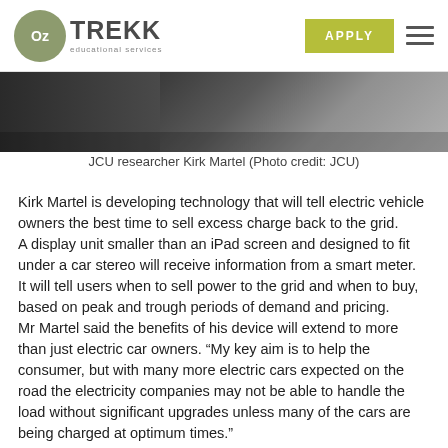OzTREKK educational services | APPLY
[Figure (photo): Partial photo of JCU researcher Kirk Martel, showing torso/shoulders in dark clothing]
JCU researcher Kirk Martel (Photo credit: JCU)
Kirk Martel is developing technology that will tell electric vehicle owners the best time to sell excess charge back to the grid.
A display unit smaller than an iPad screen and designed to fit under a car stereo will receive information from a smart meter.
It will tell users when to sell power to the grid and when to buy, based on peak and trough periods of demand and pricing.
Mr Martel said the benefits of his device will extend to more than just electric car owners. “My key aim is to help the consumer, but with many more electric cars expected on the road the electricity companies may not be able to handle the load without significant upgrades unless many of the cars are being charged at optimum times.”
Researchers have found the typical private user plugged their car in after work at a time of peak domestic demand. Fleet users plugged in at work during peak industrial demand.
Mr Martel said the calculations needed were more complicated than